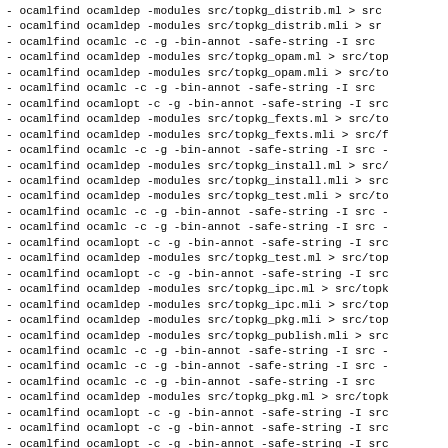- ocamlfind ocamldep -modules src/topkg_distrib.ml > src/...
- ocamlfind ocamldep -modules src/topkg_distrib.mli > src/...
- ocamlfind ocamlc -c -g -bin-annot -safe-string -I src ...
- ocamlfind ocamldep -modules src/topkg_opam.ml > src/top...
- ocamlfind ocamldep -modules src/topkg_opam.mli > src/to...
- ocamlfind ocamlc -c -g -bin-annot -safe-string -I src ...
- ocamlfind ocamlopt -c -g -bin-annot -safe-string -I src...
- ocamlfind ocamldep -modules src/topkg_fexts.ml > src/to...
- ocamlfind ocamldep -modules src/topkg_fexts.mli > src/f...
- ocamlfind ocamlc -c -g -bin-annot -safe-string -I src -...
- ocamlfind ocamldep -modules src/topkg_install.ml > src/...
- ocamlfind ocamldep -modules src/topkg_install.mli > src...
- ocamlfind ocamldep -modules src/topkg_test.mli > src/to...
- ocamlfind ocamlc -c -g -bin-annot -safe-string -I src -...
- ocamlfind ocamlc -c -g -bin-annot -safe-string -I src -...
- ocamlfind ocamlopt -c -g -bin-annot -safe-string -I src...
- ocamlfind ocamldep -modules src/topkg_test.ml > src/top...
- ocamlfind ocamlopt -c -g -bin-annot -safe-string -I src...
- ocamlfind ocamldep -modules src/topkg_ipc.ml > src/topk...
- ocamlfind ocamldep -modules src/topkg_ipc.mli > src/top...
- ocamlfind ocamldep -modules src/topkg_pkg.mli > src/top...
- ocamlfind ocamldep -modules src/topkg_publish.mli > src...
- ocamlfind ocamlc -c -g -bin-annot -safe-string -I src -...
- ocamlfind ocamlc -c -g -bin-annot -safe-string -I src -...
- ocamlfind ocamlc -c -g -bin-annot -safe-string -I src ...
- ocamlfind ocamldep -modules src/topkg_pkg.ml > src/topk...
- ocamlfind ocamlopt -c -g -bin-annot -safe-string -I src...
- ocamlfind ocamlopt -c -g -bin-annot -safe-string -I src...
- ocamlfind ocamlopt -c -g -bin-annot -safe-string -I src...
- ocamlfind ocamldep -modules src/topkg_publish.ml > src/...